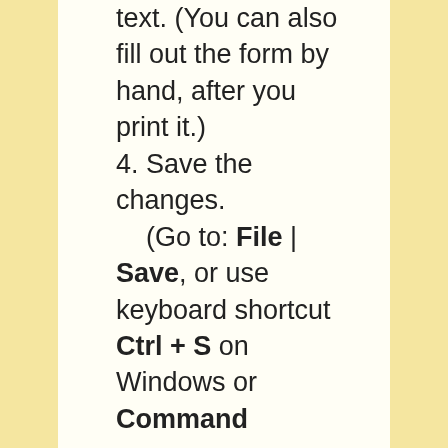text. (You can also fill out the form by hand, after you print it.)
4. Save the changes.
    (Go to: File | Save, or use keyboard shortcut Ctrl + S on Windows or Command